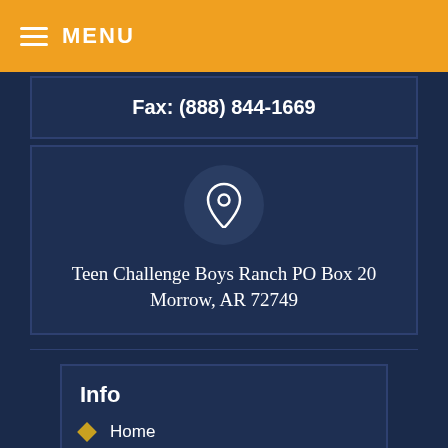MENU
Fax: (888) 844-1669
Teen Challenge Boys Ranch PO Box 20
Morrow, AR 72749
Info
Home
Welcome